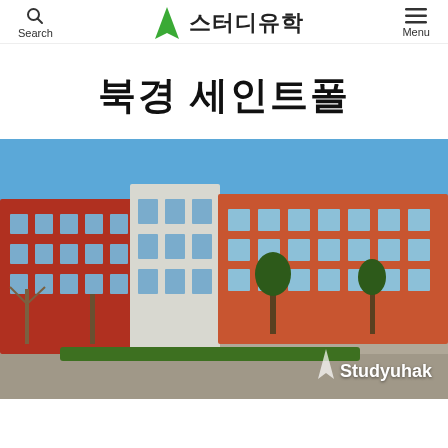Search  스터디유학  Menu
북경 세인트폴
[Figure (photo): Exterior photo of Beijing St. Paul school campus showing red and white multi-story academic buildings under a clear blue sky, with bare trees and a landscaped roundabout in the foreground. A Studyuhak watermark logo appears in the lower right corner.]